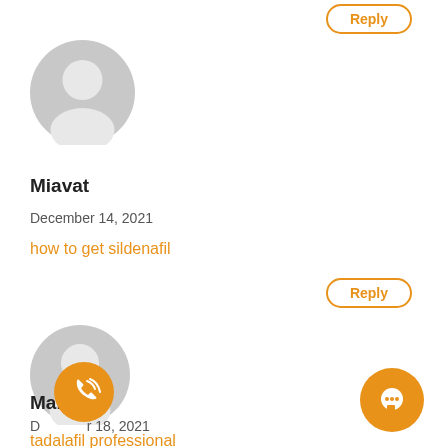Reply
[Figure (illustration): Grey default user avatar circle icon]
Miavat
December 14, 2021
how to get sildenafil
Reply
[Figure (illustration): Grey default user avatar circle icon]
Markvat
December 18, 2021
tadalafil professional
[Figure (illustration): Orange circle phone call FAB button]
[Figure (illustration): Orange circle chat FAB button]